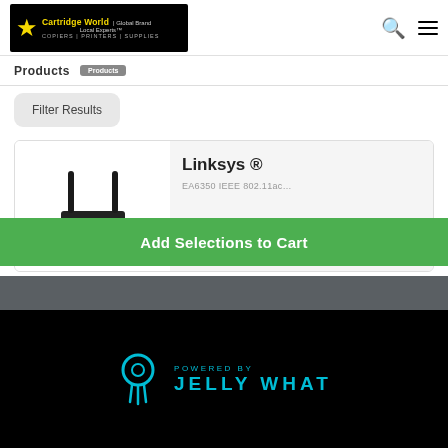[Figure (logo): Cartridge World logo — black background with yellow star and text: Cartridge World | Global Brand Local Experts | COPIERS | PRINTERS | SUPPLIES]
Products | Filter Results
Filter Results
[Figure (photo): Linksys router product image — black router with antennas]
Linksys ®
EA6350 IEEE 802.11ac…
Add Selections to Cart
[Figure (logo): Powered by Jelly What logo — cyan circle/drip icon with text POWERED BY JELLY WHAT]